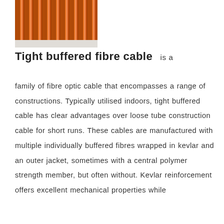[Figure (photo): Close-up photograph of multiple orange tight buffered fibre optic cables bundled side by side, showing the ribbed/rounded profiles of the individual cable jackets.]
Tight buffered fibre cable
is a family of fibre optic cable that encompasses a range of constructions. Typically utilised indoors, tight buffered cable has clear advantages over loose tube construction cable for short runs. These cables are manufactured with multiple individually buffered fibres wrapped in kevlar and an outer jacket, sometimes with a central polymer strength member, but often without. Kevlar reinforcement offers excellent mechanical properties while maintaining flexibility, even in modest but